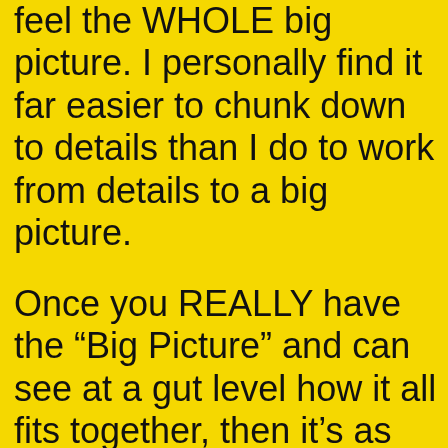feel the WHOLE big picture. I personally find it far easier to chunk down to details than I do to work from details to a big picture.
Once you REALLY have the “Big Picture” and can see at a gut level how it all fits together, then it’s as though everything starts falling into place…because there’s somewhere for it to go.
Other...